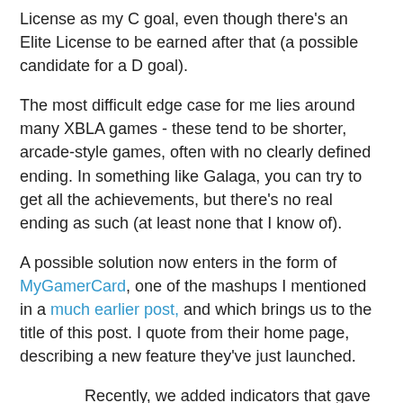License as my C goal, even though there's an Elite License to be earned after that (a possible candidate for a D goal).
The most difficult edge case for me lies around many XBLA games - these tend to be shorter, arcade-style games, often with no clearly defined ending. In something like Galaga, you can try to get all the achievements, but there's no real ending as such (at least none that I know of).
A possible solution now enters in the form of MyGamerCard, one of the mashups I mentioned in a much earlier post, and which brings us to the title of this post. I quote from their home page, describing a new feature they've just launched.
Recently, we added indicators that gave an at-a-glance view of whether you were ahead or behind the curve based on the Community's average GamerScore.
If you have more achievements than average, you are given an overachievement rating. An in the opposite case, you get an underachievement rating. This nicely indicates when you've played a game more than the average person, and